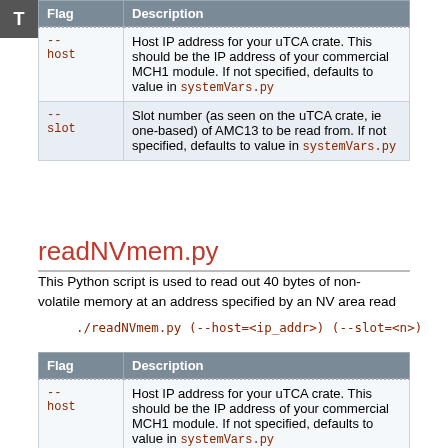| Flag | Description |
| --- | --- |
| --
host | Host IP address for your uTCA crate. This should be the IP address of your commercial MCH1 module. If not specified, defaults to value in systemVars.py |
| --
slot | Slot number (as seen on the uTCA crate, ie one-based) of AMC13 to be read from. If not specified, defaults to value in systemVars.py |
readNVmem.py
This Python script is used to read out 40 bytes of non-volatile memory at an address specified by an NV area read
./readNVmem.py (--host=<ip_addr>) (--slot=<n>)
| Flag | Description |
| --- | --- |
| --
host | Host IP address for your uTCA crate. This should be the IP address of your commercial MCH1 module. If not specified, defaults to value in systemVars.py |
| --
slot | Slot number (as seen on the uTCA crate, ie one-based) of AMC13 to be read from. If not specified, |